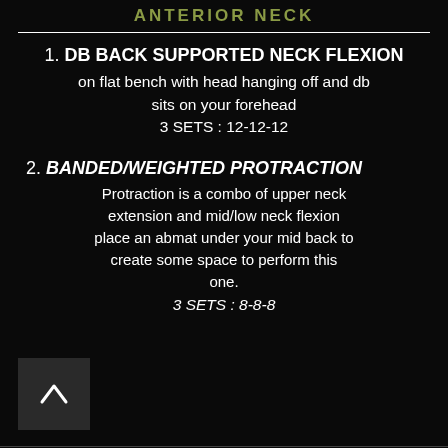ANTERIOR NECK
1. DB BACK SUPPORTED NECK FLEXION
on flat bench with head hanging off and db
sits on your forehead
3 SETS : 12-12-12
2. BANDED/WEIGHTED PROTRACTION
Protraction is a combo of upper neck extension and mid/low neck flexion place an abmat under your mid back to create some space to perform this one.
3 SETS : 8-8-8